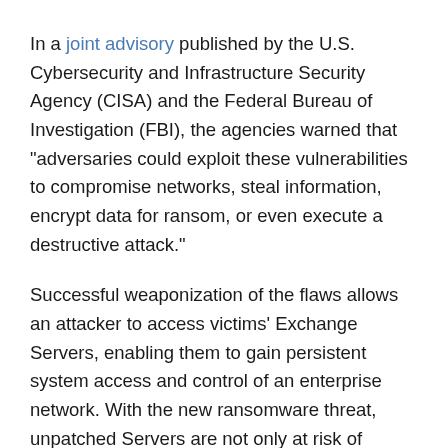In a joint advisory published by the U.S. Cybersecurity and Infrastructure Security Agency (CISA) and the Federal Bureau of Investigation (FBI), the agencies warned that "adversaries could exploit these vulnerabilities to compromise networks, steal information, encrypt data for ransom, or even execute a destructive attack."
Successful weaponization of the flaws allows an attacker to access victims' Exchange Servers, enabling them to gain persistent system access and control of an enterprise network. With the new ransomware threat, unpatched Servers are not only at risk of potential data theft but also get potentially encrypted, preventing access to an organization's mailboxes.